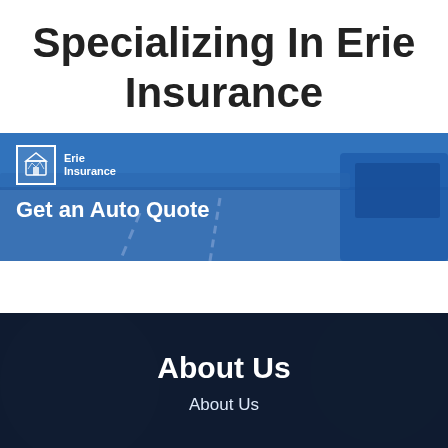Specializing In Erie Insurance
[Figure (screenshot): Erie Insurance banner with highway road background, blue overlay, Erie Insurance logo in top left, and bold white text reading 'Get an Auto Quote']
About Us
About Us